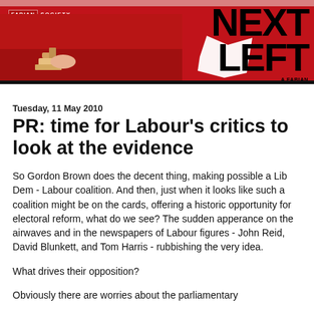[Figure (illustration): Fabian Society 'Next Left - A Fabian Society Blog' banner header with red background showing a hand painting with a brush and the text NEXT LEFT in large bold black letters]
Tuesday, 11 May 2010
PR: time for Labour's critics to look at the evidence
So Gordon Brown does the decent thing, making possible a Lib Dem - Labour coalition. And then, just when it looks like such a coalition might be on the cards, offering a historic opportunity for electoral reform, what do we see? The sudden apperance on the airwaves and in the newspapers of Labour figures - John Reid, David Blunkett, and Tom Harris - rubbishing the very idea.
What drives their opposition?
Obviously there are worries about the parliamentary...